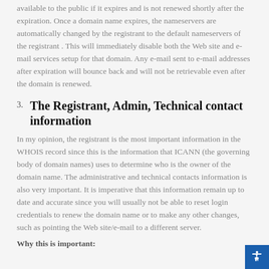available to the public if it expires and is not renewed shortly after the expiration. Once a domain name expires, the nameservers are automatically changed by the registrant to the default nameservers of the registrant . This will immediately disable both the Web site and e-mail services setup for that domain. Any e-mail sent to e-mail addresses after expiration will bounce back and will not be retrievable even after the domain is renewed.
The Registrant, Admin, Technical contact information
In my opinion, the registrant is the most important information in the WHOIS record since this is the information that ICANN (the governing body of domain names) uses to determine who is the owner of the domain name. The administrative and technical contacts information is also very important. It is imperative that this information remain up to date and accurate since you will usually not be able to reset login credentials to renew the domain name or to make any other changes, such as pointing the Web site/e-mail to a different server.
Why this is important: